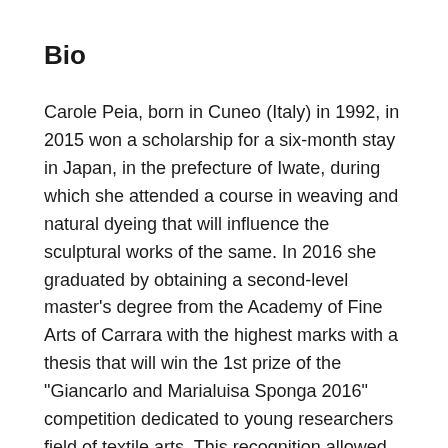Bio
Carole Peia, born in Cuneo (Italy) in 1992, in 2015 won a scholarship for a six-month stay in Japan, in the prefecture of Iwate, during which she attended a course in weaving and natural dyeing that will influence the sculptural works of the same. In 2016 she graduated by obtaining a second-level master’s degree from the Academy of Fine Arts of Carrara with the highest marks with a thesis that will win the 1st prize of the “Giancarlo and Marialuisa Sponga 2016” competition dedicated to young researchers field of textile arts. This recognition allowed her to enroll in the first level “Textile – creation of art fabrics” master’s degree at the Silk Art Foundation Lisio in Florence, to which she graduated in October 2018. Currently she teaches at the artistic high school in her hometown and at the same time pursues